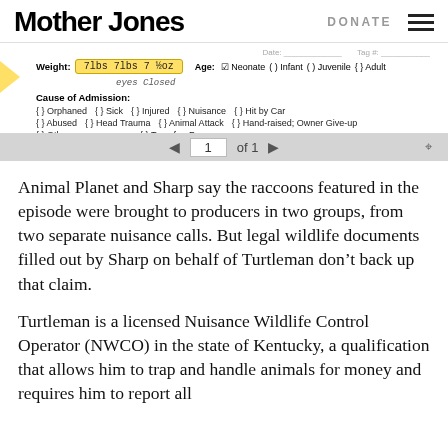Mother Jones | DONATE
[Figure (screenshot): Scanned wildlife admission form showing weight field highlighted in yellow: '7lbs 7lbs 7 1/2oz', Age checkboxes (Neonate selected), eyes closed noted, Cause of Admission section with checkboxes: Orphaned, Sick, Injured, Nuisance, Hit by Car, Abused, Head Trauma, Animal Attack, Hand-raised; Owner Give-up, Other, Transfer: From:]
Animal Planet and Sharp say the raccoons featured in the episode were brought to producers in two groups, from two separate nuisance calls. But legal wildlife documents filled out by Sharp on behalf of Turtleman don't back up that claim.
Turtleman is a licensed Nuisance Wildlife Control Operator (NWCO) in the state of Kentucky, a qualification that allows him to trap and handle animals for money and requires him to report all